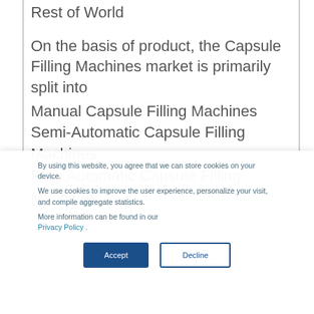Rest of World
On the basis of product, the Capsule Filling Machines market is primarily split into
Manual Capsule Filling Machines
Semi-Automatic Capsule Filling Machines
Fully Automatic Capsule Filling Machines
By using this website, you agree that we can store cookies on your device.
We use cookies to improve the user experience, personalize your visit, and compile aggregate statistics.
More information can be found in our Privacy Policy .